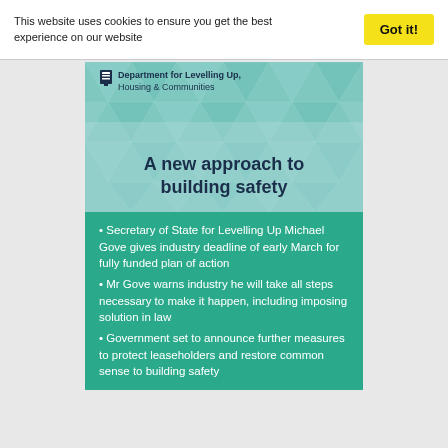This website uses cookies to ensure you get the best experience on our website
Got it!
[Figure (illustration): UK Government document cover — Department for Levelling Up, Housing & Communities. Title: 'A new approach to building safety' on a teal/blue geometric triangle pattern background.]
Secretary of State for Levelling Up Michael Gove gives industry deadline of early March for fully funded plan of action
Mr Gove warns industry he will take all steps necessary to make it happen, including imposing solution in law
Government set to announce further measures to protect leaseholders and restore common sense to building safety